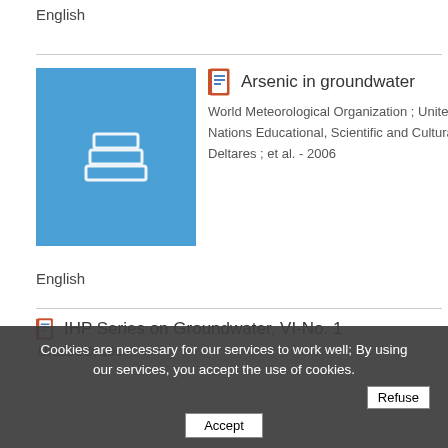English
[Figure (illustration): Blue book cover thumbnail with white stacked books icon for 'Arsenic in groundwater']
Arsenic in groundwater
World Meteorological Organization ; United Nations Educational, Scientific and Cultural Organization ; Deltares ; et al. - 2006
English
[Figure (illustration): Small document icon for 'IHP Series on Groundwater, VI-No.']
IHP Series on Groundwater, VI-No. 1
UNESCO, 2006
Cookies are necessary for our services to work well; By using our services, you accept the use of cookies.